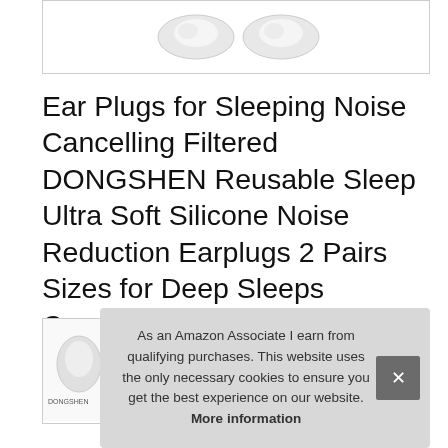[Figure (photo): Partial view of white/grey silicone ear plugs on white background, top portion of product image card]
Ear Plugs for Sleeping Noise Cancelling Filtered DONGSHEN Reusable Sleep Ultra Soft Silicone Noise Reduction Earplugs 2 Pairs Sizes for Deep Sleeps Concerts Motorcycle Alarm Remains AudibleBlack
[Figure (photo): Small thumbnail image of ear plugs product]
As an Amazon Associate I earn from qualifying purchases. This website uses the only necessary cookies to ensure you get the best experience on our website. More information